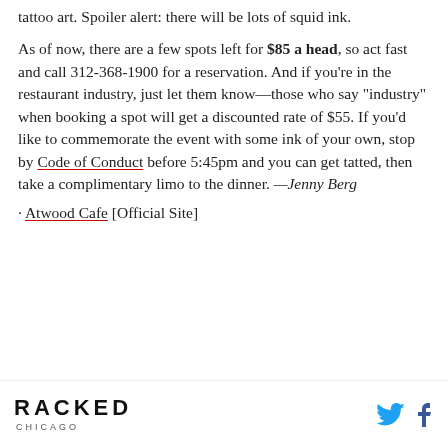tattoo art. Spoiler alert: there will be lots of squid ink.
As of now, there are a few spots left for $85 a head, so act fast and call 312-368-1900 for a reservation. And if you're in the restaurant industry, just let them know—those who say "industry" when booking a spot will get a discounted rate of $55. If you'd like to commemorate the event with some ink of your own, stop by Code of Conduct before 5:45pm and you can get tatted, then take a complimentary limo to the dinner. —Jenny Berg
· Atwood Cafe [Official Site]
[Figure (map): Google Maps showing W Wacker Dr area in Chicago with metro (M) markers and Maggie Daley Park label visible]
RACKED CHICAGO